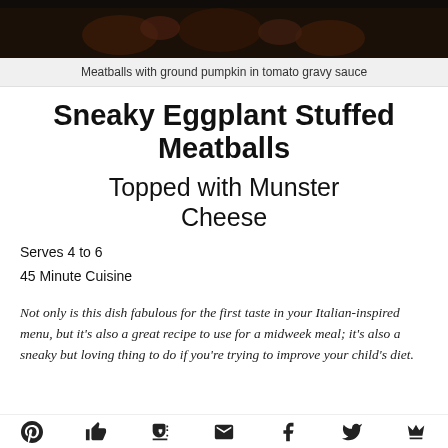[Figure (photo): Dark photo of meatballs with ground pumpkin in tomato gravy sauce, cropped at top]
Meatballs with ground pumpkin in tomato gravy sauce
Sneaky Eggplant Stuffed Meatballs
Topped with Munster Cheese
Serves 4 to 6
45 Minute Cuisine
Not only is this dish fabulous for the first taste in your Italian-inspired menu, but it's also a great recipe to use for a midweek meal; it's also a sneaky but loving thing to do if you're trying to improve your child's diet.